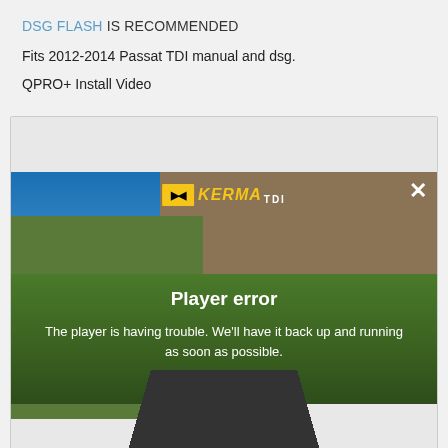DSG FLASH IS RECOMMENDED
Fits 2012-2014 Passat TDI manual and dsg.
QPRO+ Install Video
[Figure (screenshot): Video player showing a scenic mountain road with trees and blue sky. The player displays a 'Player error' overlay message with the KermaTDI logo at the top and a close (X) button in the top right. Error text reads: 'Player error' and 'The player is having trouble. We'll have it back up and running as soon as possible.']